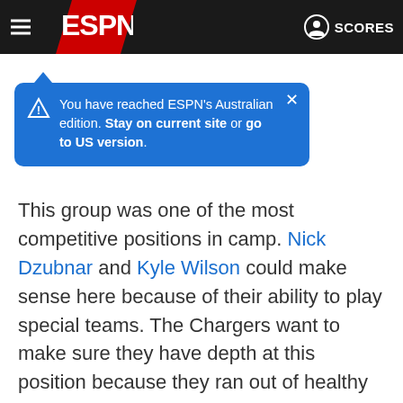ESPN navigation bar with hamburger menu, ESPN logo, and SCORES link
[Figure (screenshot): Blue tooltip popup: 'You have reached ESPN's Australian edition. Stay on current site or go to US version.' with close button and warning icon]
This group was one of the most competitive positions in camp. Nick Dzubnar and Kyle Wilson could make sense here because of their ability to play special teams. The Chargers want to make sure they have depth at this position because they ran out of healthy bodies last year.